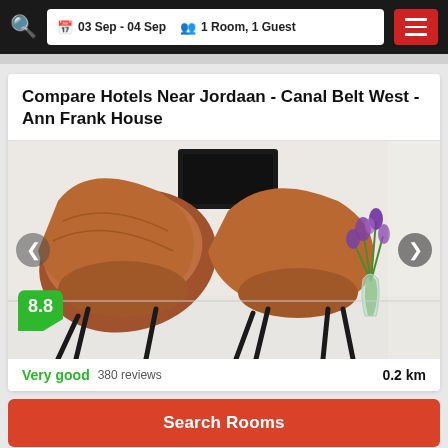03 Sep - 04 Sep  1 Room, 1 Guest
Compare Hotels Near Jordaan - Canal Belt West - Ann Frank House
[Figure (photo): Hotel room interior with two distinctive curved wooden chairs with black legs on a white floor, and a vase of purple flowers in the background near a white wall with TV]
Very good  380 reviews  0.2 km
Search Rooms